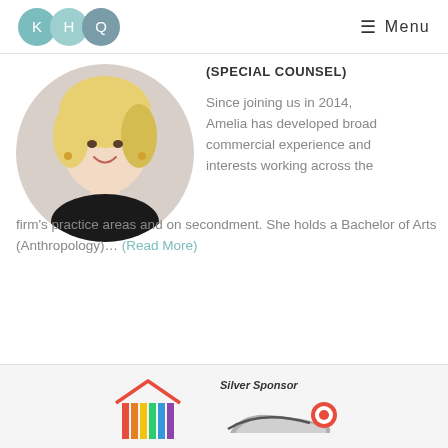KHQ | Menu
[Figure (photo): Circular portrait photo of Amelia, a woman with blonde hair and a black outfit, smiling.]
(SPECIAL COUNSEL)
Since joining us in 2014, Amelia has developed broad commercial experience and interests working across the firm's practice areas and on secondment. She holds a Bachelor of Arts (Anthropology)... (Read More)
[Figure (logo): Rainbow-colored pillars/temple logo]
[Figure (logo): Silver Sponsor logo with stylized text and red circle icon]